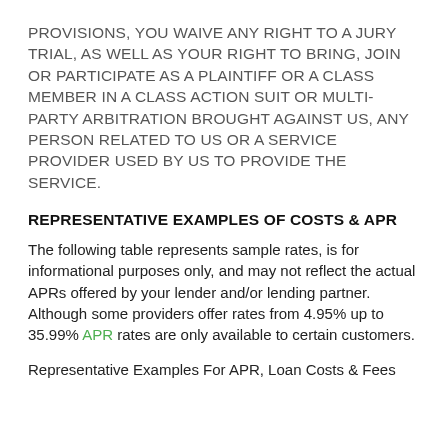PROVISIONS, YOU WAIVE ANY RIGHT TO A JURY TRIAL, AS WELL AS YOUR RIGHT TO BRING, JOIN OR PARTICIPATE AS A PLAINTIFF OR A CLASS MEMBER IN A CLASS ACTION SUIT OR MULTI-PARTY ARBITRATION BROUGHT AGAINST US, ANY PERSON RELATED TO US OR A SERVICE PROVIDER USED BY US TO PROVIDE THE SERVICE.
REPRESENTATIVE EXAMPLES OF COSTS & APR
The following table represents sample rates, is for informational purposes only, and may not reflect the actual APRs offered by your lender and/or lending partner. Although some providers offer rates from 4.95% up to 35.99% APR rates are only available to certain customers.
Representative Examples For APR, Loan Costs & Fees